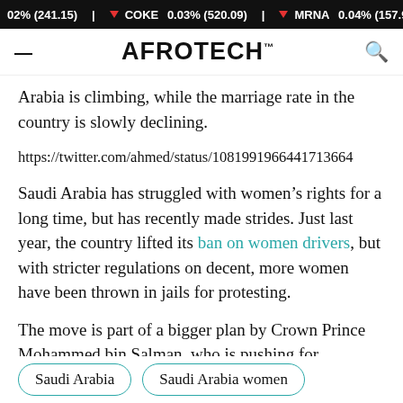02% (241.15) | COKE 0.03% (520.09) | MRNA 0.04% (157.96) | ETH/US
AFROTECH™
Arabia is climbing, while the marriage rate in the country is slowly declining.
https://twitter.com/ahmed/status/1081991966441713664
Saudi Arabia has struggled with women's rights for a long time, but has recently made strides. Just last year, the country lifted its ban on women drivers, but with stricter regulations on decent, more women have been thrown in jails for protesting.
The move is part of a bigger plan by Crown Prince Mohammed bin Salman, who is pushing for economic and social reforms as part of his Vision 2030 plan.
Saudi Arabia
Saudi Arabia women